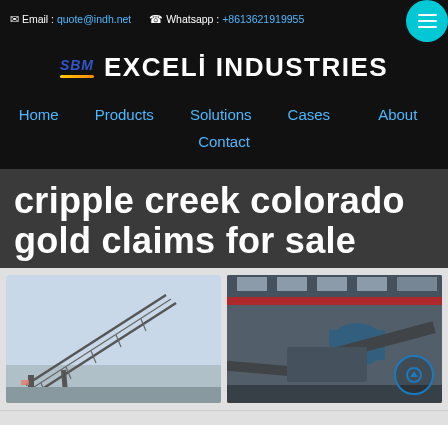Email : quote@indh.net   Whatsapp : +8613621919955
[Figure (logo): SBM logo with EXCELI INDUSTRIES text in white on black background]
Home   Products   Solutions   Cases   About   Contact
cripple creek colorado gold claims for sale
[Figure (photo): Outdoor industrial conveyor belt structure over water]
[Figure (photo): Indoor industrial mining/crushing plant facility]